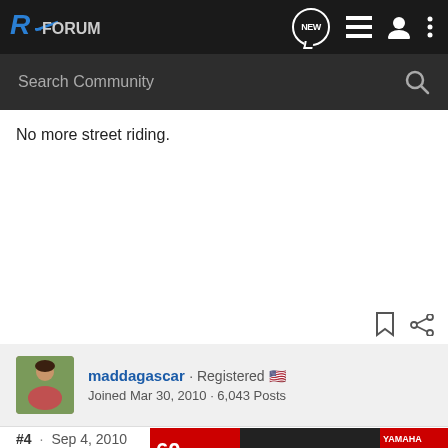RE Forum - navigation bar with logo, NEW, list, user, and menu icons
Search Community
No more street riding.
maddagascar · Registered 🇺🇸
Joined Mar 30, 2010 · 6,043 Posts
#4 · Sep 4, 2010
sweeet. always a plus to have a girl that rides.
[Figure (screenshot): Yamaha motorcycle advertisement banner - 60th World GP Anniversary showing race motorcycles with 'YAMAHA Racing' branding and 'LEARN MORE' button]